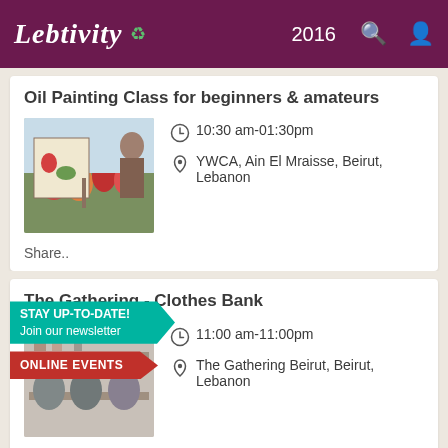Lebtivity 2016
Oil Painting Class for beginners & amateurs
10:30 am-01:30pm
YWCA, Ain El Mraisse, Beirut, Lebanon
Share..
The Gathering - Clothes Bank
11:00 am-11:00pm
The Gathering Beirut, Beirut, Lebanon
Share..
STAY UP-TO-DATE!
Join our newsletter
ONLINE EVENTS
ADVERTISEMENT